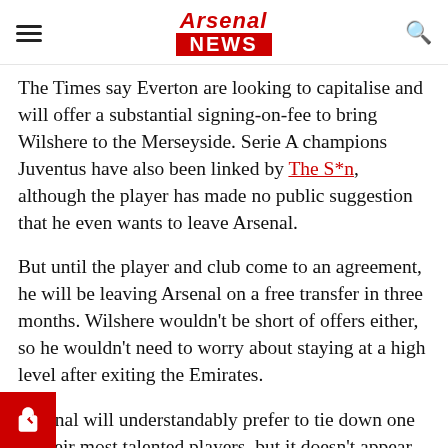Arsenal NEWS
The Times say Everton are looking to capitalise and will offer a substantial signing-on-fee to bring Wilshere to the Merseyside. Serie A champions Juventus have also been linked by The S*n, although the player has made no public suggestion that he even wants to leave Arsenal.
But until the player and club come to an agreement, he will be leaving Arsenal on a free transfer in three months. Wilshere wouldn't be short of offers either, so he wouldn't need to worry about staying at a high level after exiting the Emirates.
Arsenal will understandably prefer to tie down one of their most talented players, but it doesn't appear they will budge on their contract offer to Wilshere.